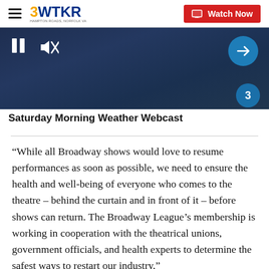3WTKR — Watch Now
[Figure (screenshot): Video player showing Saturday Morning Weather Webcast with pause button, mute button, and navigation arrow. Dark blue background with lower-third banner reading 'Saturday Morning Weather Webcast'.]
“While all Broadway shows would love to resume performances as soon as possible, we need to ensure the health and well-being of everyone who comes to the theatre – behind the curtain and in front of it – before shows can return. The Broadway League’s membership is working in cooperation with the theatrical unions, government officials, and health experts to determine the safest ways to restart our industry,” said Charlotte St. Martin, President of the